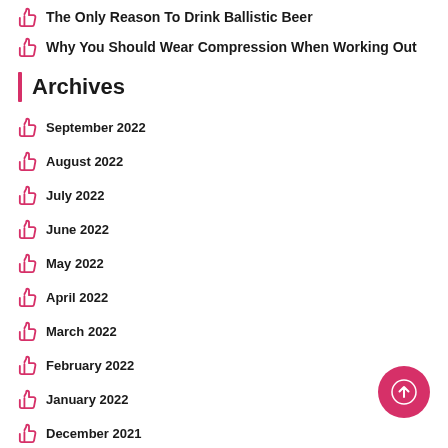The Only Reason To Drink Ballistic Beer
Why You Should Wear Compression When Working Out
Archives
September 2022
August 2022
July 2022
June 2022
May 2022
April 2022
March 2022
February 2022
January 2022
December 2021
November 2021